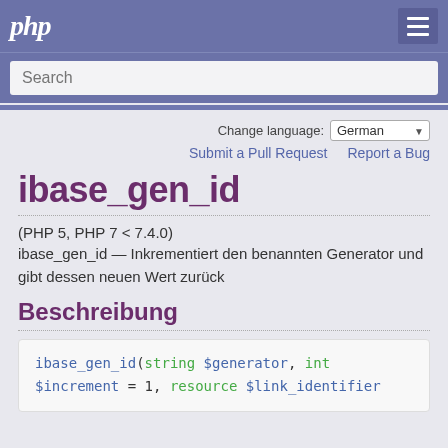php
Search
Change language: German
Submit a Pull Request   Report a Bug
ibase_gen_id
(PHP 5, PHP 7 < 7.4.0)
ibase_gen_id — Inkrementiert den benannten Generator und gibt dessen neuen Wert zurück
Beschreibung
ibase_gen_id(string $generator, int $increment = 1, resource $link_identifier